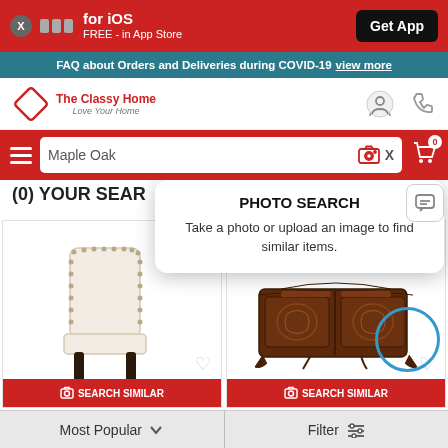[Figure (screenshot): App download banner with red background showing iOS app promotion]
FAQ about Orders and Deliveries during COVID-19 view more
[Figure (logo): The Classy Home - Love Your Home logo with diamond shape]
Maple Oak
PHOTO SEARCH
Take a photo or upload an image to find similar items.
(0) YOUR SEAR...
[Figure (photo): White upholstered dining chair with nailhead trim and dark wood legs]
SEARCH SIMILAR
[Figure (photo): Dark wood ornate sideboard/buffet with carved decorative details]
SEARCH SIMILAR
Most Popular
Filter